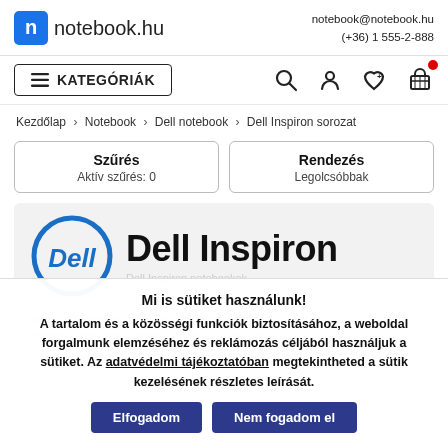notebook.hu | notebook@notebook.hu | (+36) 1 555-2-888
KATEGÓRIÁK
Kezdőlap › Notebook › Dell notebook › Dell Inspiron sorozat
Szűrés
Aktív szűrés: 0
Rendezés
Legolcsóbbak
Dell Inspiron
Mi is sütiket használunk!
A tartalom és a közösségi funkciók biztosításához, a weboldal forgalmunk elemzéséhez és reklámozás céljából használjuk a sütiket. Az adatvédelmi tájékoztatóban megtekintheted a sütik kezelésének részletes leírását.
Elfogadom    Nem fogadom el